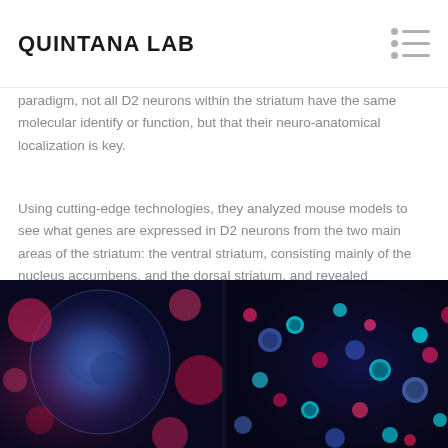QUINTANA LAB
paradigm, not all D2 neurons within the striatum have the same molecular identify or function, but that their neuro-anatomical localization is key.
Using cutting-edge technologies, they analyzed mouse models to see what genes are expressed in D2 neurons from the two main areas of the striatum: the ventral striatum, consisting mainly of the nucleus accumbens, and the dorsal striatum, and revealed overwhelming differences among them. Thus, depending on their precise anatomical location, they express different kinds of proteins, changing neurons' features and functions.
[Figure (photo): Two fluorescence microscopy images side-by-side showing brain tissue sections with labeled neurons. Left image shows a large blue-stained nucleus structure surrounded by pink/magenta cells on a dark background. Right image shows a closer view with cyan, blue, and pink/red fluorescently labeled neurons on a dark background.]